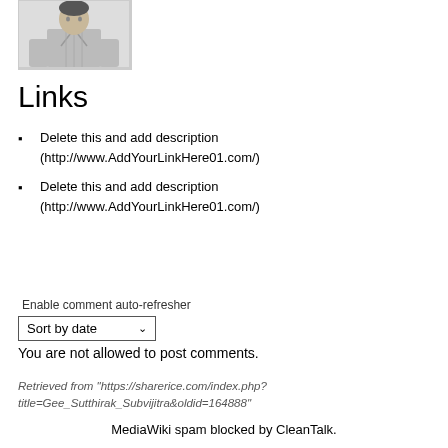[Figure (photo): Black and white photo of a person in a light-colored shirt, partially cropped, inside a bordered box]
Links
Delete this and add description (http://www.AddYourLinkHere01.com/)
Delete this and add description (http://www.AddYourLinkHere01.com/)
Enable comment auto-refresher
Sort by date
You are not allowed to post comments.
Retrieved from "https://sharerice.com/index.php?title=Gee_Sutthirak_Subvijitra&oldid=164888"
MediaWiki spam blocked by CleanTalk.